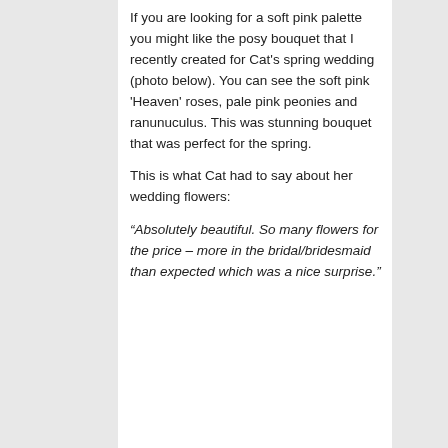If you are looking for a soft pink palette you might like the posy bouquet that I recently created for Cat's spring wedding (photo below). You can see the soft pink 'Heaven' roses, pale pink peonies and ranunuculus. This was stunning bouquet that was perfect for the spring.
This is what Cat had to say about her wedding flowers: “Absolutely beautiful. So many flowers for the price – more in the bridal/bridesmaid than expected which was a nice surprise.”